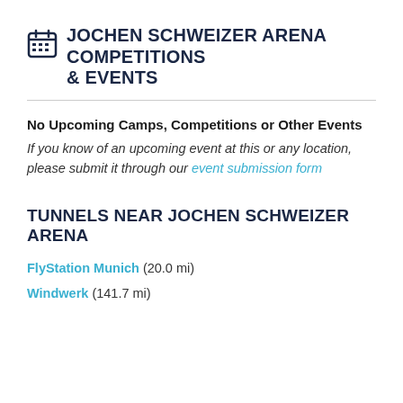JOCHEN SCHWEIZER ARENA COMPETITIONS & EVENTS
No Upcoming Camps, Competitions or Other Events
If you know of an upcoming event at this or any location, please submit it through our event submission form
TUNNELS NEAR JOCHEN SCHWEIZER ARENA
FlyStation Munich (20.0 mi)
Windwerk (141.7 mi)